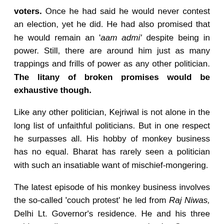voters. Once he had said he would never contest an election, yet he did. He had also promised that he would remain an 'aam admi' despite being in power. Still, there are around him just as many trappings and frills of power as any other politician. The litany of broken promises would be exhaustive though.
Like any other politician, Kejriwal is not alone in the long list of unfaithful politicians. But in one respect he surpasses all. His hobby of monkey business has no equal. Bharat has rarely seen a politician with such an insatiable want of mischief-mongering.
The latest episode of his monkey business involves the so-called 'couch protest' he led from Raj Niwas, Delhi Lt. Governor's residence. He and his three cabinet colleagues went to meet the Lt. Governor but refused to leave the